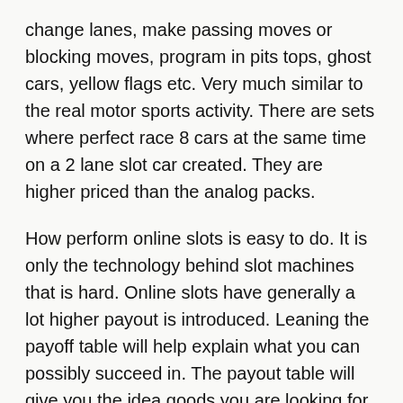change lanes, make passing moves or blocking moves, program in pits tops, ghost cars, yellow flags etc. Very much similar to the real motor sports activity. There are sets where perfect race 8 cars at the same time on a 2 lane slot car created. They are higher priced than the analog packs.
How perform online slots is easy to do. It is only the technology behind slot machines that is hard. Online slots have generally a lot higher payout is introduced. Leaning the payoff table will help explain what you can possibly succeed in. The payout table will give you the idea goods you are looking for to acquire. Across and diagonal are the common winning combinations with online slots. Matching the different combinations will also give you different...